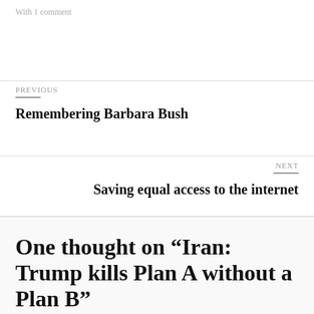With 1 comment
PREVIOUS
Remembering Barbara Bush
NEXT
Saving equal access to the internet
One thought on “Iran: Trump kills Plan A without a Plan B”